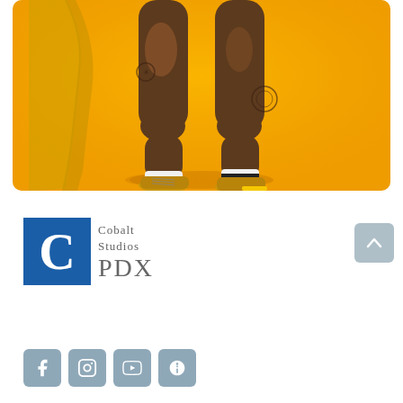[Figure (photo): Fashion photo showing lower body of a person with tattoos on legs, wearing a yellow/gold outfit with a flowing fabric piece, white socks with a heart design, and gold lace-up sneakers, posed against a bright yellow background.]
[Figure (logo): Cobalt Studios PDX logo: blue square with white letter C on left, text 'Cobalt Studios' above 'PDX' in gray serif font on right.]
[Figure (other): Light blue/gray square button with white upward-pointing chevron/arrow, used as a scroll-to-top navigation button.]
[Figure (other): Row of four social media icon buttons (Facebook, Instagram, YouTube, Yelp) in light blue/gray rounded square style, partially visible at bottom of page.]